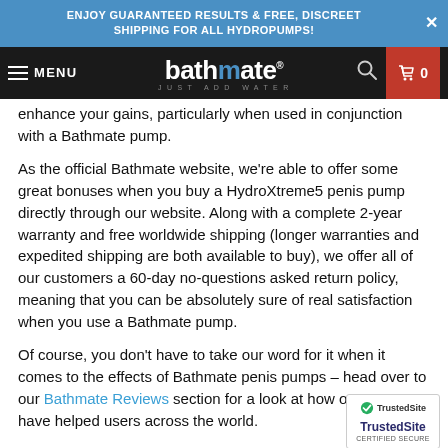ENJOY GUARANTEED RESULTS & FREE, DISCREET SHIPPING FOR ALL HYDROPUMPS!
[Figure (screenshot): Bathmate website navigation bar with hamburger menu, Bathmate logo, search icon, and cart with 0 items on dark background with red cart box]
enhance your gains, particularly when used in conjunction with a Bathmate pump.
As the official Bathmate website, we're able to offer some great bonuses when you buy a HydroXtreme5 penis pump directly through our website. Along with a complete 2-year warranty and free worldwide shipping (longer warranties and expedited shipping are both available to buy), we offer all of our customers a 60-day no-questions asked return policy, meaning that you can be absolutely sure of real satisfaction when you use a Bathmate pump.
Of course, you don't have to take our word for it when it comes to the effects of Bathmate penis pumps – head over to our Bathmate Reviews section for a look at how our pumps have helped users across the world.
[Figure (logo): TrustedSite CERTIFIED SECURE badge]
To get the most effective results, we recommend